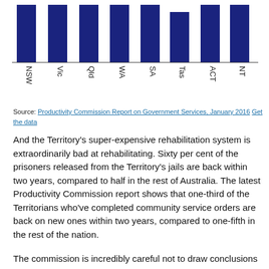[Figure (bar-chart): Bar chart showing data by Australian state/territory]
Source: Productivity Commission Report on Government Services, January 2016 Get the data
And the Territory's super-expensive rehabilitation system is extraordinarily bad at rehabilitating. Sixty per cent of the prisoners released from the Territory's jails are back within two years, compared to half in the rest of Australia. The latest Productivity Commission report shows that one-third of the Territorians who've completed community service orders are back on new ones within two years, compared to one-fifth in the rest of the nation.
The commission is incredibly careful not to draw conclusions from the data it lays out each January in its report on government services. It needs the cooperation of the states in order to get the otherwise unpublished information.